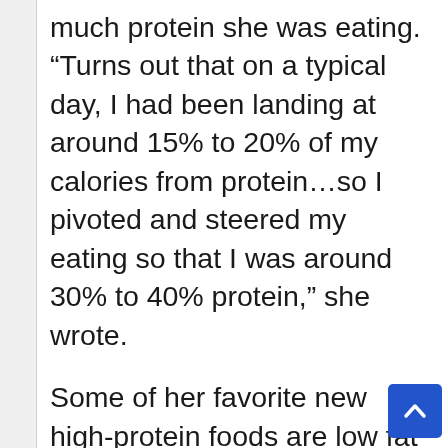much protein she was eating. “Turns out that on a typical day, I had been landing at around 15% to 20% of my calories from protein…so I pivoted and steered my eating so that I was around 30% to 40% protein,” she wrote.

Some of her favorite new high-protein foods are low fat plain Greek yogurt, low fat cottage cheese, lean meats, fish, egg whites, and